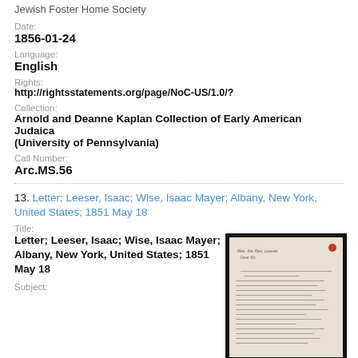Jewish Foster Home Society
Date:
1856-01-24
Language:
English
Rights:
http://rightsstatements.org/page/NoC-US/1.0/?
Collection:
Arnold and Deanne Kaplan Collection of Early American Judaica (University of Pennsylvania)
Call Number:
Arc.MS.56
13. Letter; Leeser, Isaac; Wise, Isaac Mayer; Albany, New York, United States; 1851 May 18
Title:
Letter; Leeser, Isaac; Wise, Isaac Mayer; Albany, New York, United States; 1851 May 18
[Figure (photo): Thumbnail image of a handwritten letter with a red wax seal dot at top right, on aged paper with multiple lines of cursive handwriting.]
Subject: